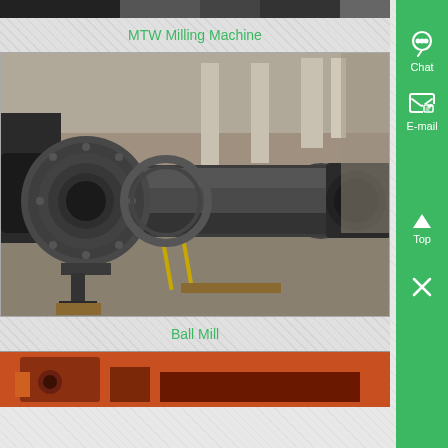[Figure (photo): Partial top view of a milling machine in an industrial warehouse setting, dark metallic equipment visible]
MTW Milling Machine
[Figure (photo): Ball Mill — large horizontal cylindrical grinding machine with flanged drum on wooden pallets in a factory warehouse]
Ball Mill
[Figure (photo): Partial bottom view of red/orange industrial equipment (crusher or similar machine)]